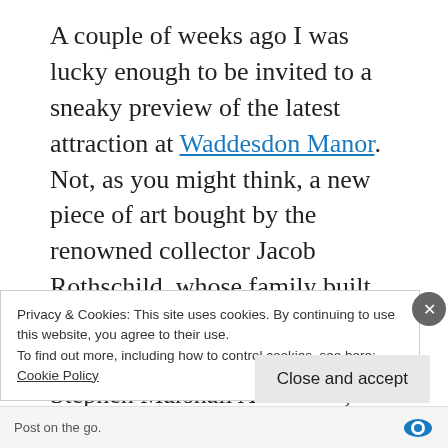A couple of weeks ago I was lucky enough to be invited to a sneaky preview of the latest attraction at Waddesdon Manor. Not, as you might think, a new piece of art bought by the renowned collector Jacob Rothschild, whose family built the manor – but instead a glorious new building. Designed by Stephen Marshall Architects, the cynical might suggest
Privacy & Cookies: This site uses cookies. By continuing to use this website, you agree to their use.
To find out more, including how to control cookies, see here:
Cookie Policy
Close and accept
Post on the go.